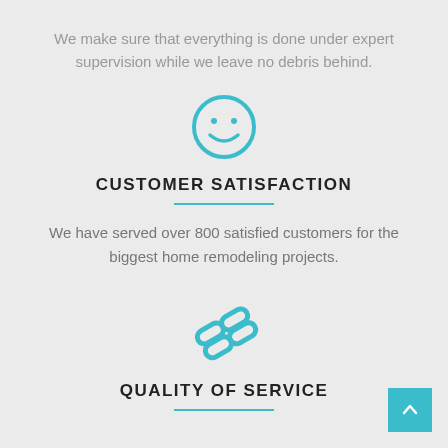We make sure that everything is done under expert supervision while we leave no debris behind.
[Figure (illustration): Teal smiley face icon in a circle]
CUSTOMER SATISFACTION
We have served over 800 satisfied customers for the biggest home remodeling projects.
[Figure (illustration): Teal stylized paperclip/link icon]
QUALITY OF SERVICE